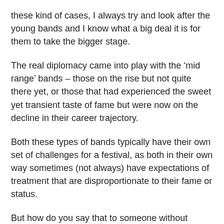these kind of cases, I always try and look after the young bands and I know what a big deal it is for them to take the bigger stage.
The real diplomacy came into play with the ‘mid range’ bands – those on the rise but not quite there yet, or those that had experienced the sweet yet transient taste of fame but were now on the decline in their career trajectory.
Both these types of bands typically have their own set of challenges for a festival, as both in their own way sometimes (not always) have expectations of treatment that are disproportionate to their fame or status.
But how do you say that to someone without offending them? The reality is, a festival is a food chain. The sprats start the day and we finish with the blue whale at the end of the night.